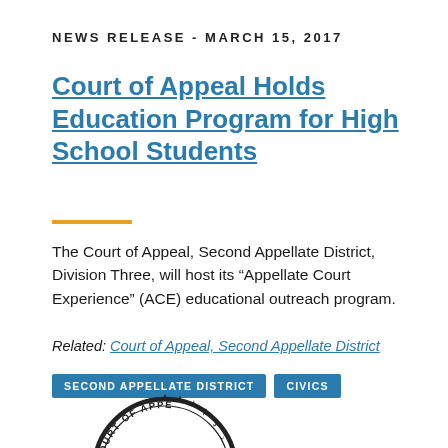NEWS RELEASE - MARCH 15, 2017
Court of Appeal Holds Education Program for High School Students
The Court of Appeal, Second Appellate District, Division Three, will host its “Appellate Court Experience” (ACE) educational outreach program.
Related: Court of Appeal, Second Appellate District
SECOND APPELLATE DISTRICT   CIVICS
[Figure (logo): Circular seal/stamp of the Court of Appeal, Second Appellate District, partially visible at the bottom of the page]